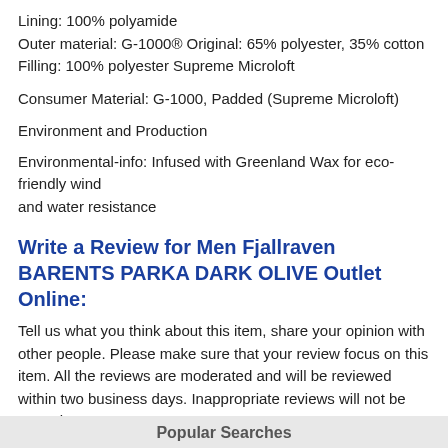Lining: 100% polyamide
Outer material: G-1000® Original: 65% polyester, 35% cotton
Filling: 100% polyester Supreme Microloft
Consumer Material: G-1000, Padded (Supreme Microloft)
Environment and Production
Environmental-info: Infused with Greenland Wax for eco-friendly wind and water resistance
Write a Review for Men Fjallraven BARENTS PARKA DARK OLIVE Outlet Online:
Tell us what you think about this item, share your opinion with other people. Please make sure that your review focus on this item. All the reviews are moderated and will be reviewed within two business days. Inappropriate reviews will not be posted.
Have any question or inquire for this item? Please contact Customer Service. (Our customer representative will get back shortly.)
Popular Searches